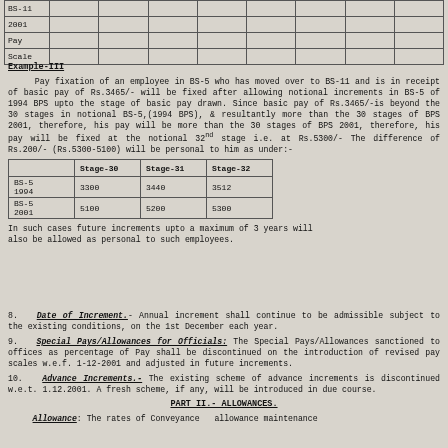|  |  |  |  |  |  |  |  |  |
| --- | --- | --- | --- | --- | --- | --- | --- | --- |
| BS-11 |  |  |  |  |  |  |  |  |
| 2001 |  |  |  |  |  |  |  |  |
| Pay |  |  |  |  |  |  |  |  |
| Scale |  |  |  |  |  |  |  |  |
Example-III
Pay fixation of an employee in BS-5 who has moved over to BS-11 and is in receipt of basic pay of Rs.3465/- will be fixed after allowing notional increments in BS-5 of 1994 BPS upto the stage of basic pay drawn. Since basic pay of Rs.3465/-is beyond the 30 stages in notional BS-5,(1994 BPS), & resultantly more than the 30 stages of BPS 2001, therefore, his pay will be fixed at the notional 32nd stage i.e. at Rs.5300/- The difference of Rs.200/- (Rs.5300-5100) will be personal to him as under:-
|  | Stage-30 | Stage-31 | Stage-32 |
| --- | --- | --- | --- |
| BS-5 | 3300 | 3440 | 3512 |
| 1994 | 5100 | 5200 | 5300 |
| BS-5 |  |  |  |
| 2001 |  |  |  |
In such cases future increments upto a maximum of 3 years will also be allowed as personal to such employees.
8. Date of Increment.- Annual increment shall continue to be admissible subject to the existing conditions, on the 1st December each year.
9. Special Pays/Allowances for Officials: The Special Pays/Allowances sanctioned to offices as percentage of Pay shall be discontinued on the introduction of revised pay scales w.e.f. 1-12-2001 and adjusted in future increments.
10. Advance Increments.- The existing scheme of advance increments is discontinued w.e.t. 1.12.2001. A fresh scheme, if any, will be introduced in due course.
PART II.- ALLOWANCES.
Allowance: The rates of Conveyance allowance maintenance